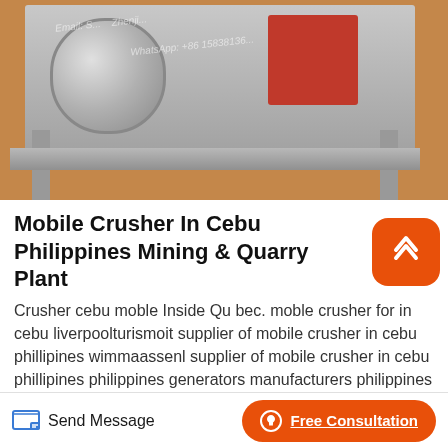[Figure (photo): Industrial mobile crusher machine photographed outdoors on sandy/dirt ground. The machine has a grey metal frame with cylindrical drum component and red hopper section. Watermark text visible: 'Email:S... Zhenji... WhatsApp: +86 15838136...']
Mobile Crusher In Cebu Philippines Mining & Quarry Plant
Crusher cebu moble Inside Qu bec. moble crusher for in cebu liverpoolturismoit supplier of mobile crusher in cebu phillipines wimmaassenl supplier of mobile crusher in cebu phillipines philippines generators manufacturers philippines generators manufacturers include diesel generator systems
Send Message   Free Consultation